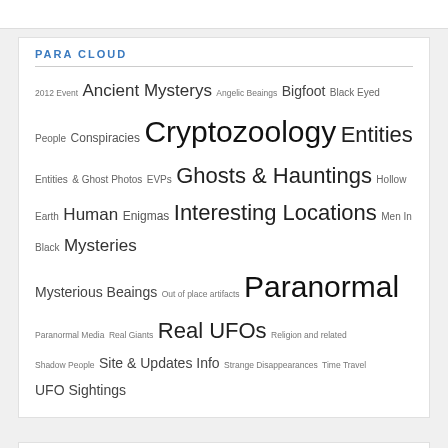PARA CLOUD
2012 Event  Ancient Mysterys  Angelic Beaings  Bigfoot  Black Eyed People  Conspiracies  Cryptozoology  Entities  Entities & Ghost Photos  EVPs  Ghosts & Hauntings  Hollow Earth  Human Enigmas  Interesting Locations  Men In Black  Mysteries  Mysterious Beaings  Out of place artifacts  Paranormal  Paranormal Media  Real Giants  Real UFOs  Religion and related  Shadow People  Site & Updates Info  Strange Disappearances  Time Travel  UFO Sightings
TRANSLATE
Select Language